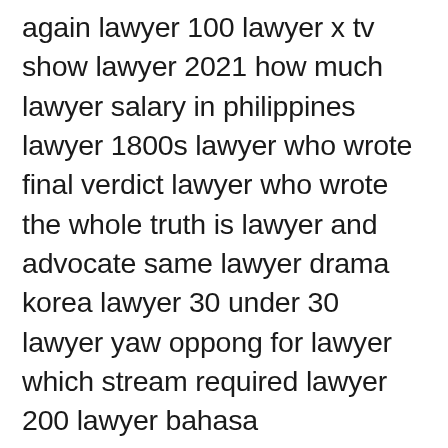again lawyer 100 lawyer x tv show lawyer 2021 how much lawyer salary in philippines lawyer 1800s lawyer who wrote final verdict lawyer who wrote the whole truth is lawyer and advocate same lawyer drama korea lawyer 30 under 30 lawyer yaw oppong for lawyer which stream required lawyer 200 lawyer bahasa indonesianya lawyer x case lawyer of anna delvey are lawyer fees tax deductible in canada lawyer yearly income are lawyer retainers refundable why lawyer is important can lawyer fees be claimed on taxes lawyer or advocate me antar lawyer without degree lawyer mr joe lawyer 9 letters lawyer fee adalah lawyer terbaik indonesia lawyer 9/11 lawyer 8 letters lawyer x underbelly lawyer 4k wallpaper lawyer without degree one who lawyer content of